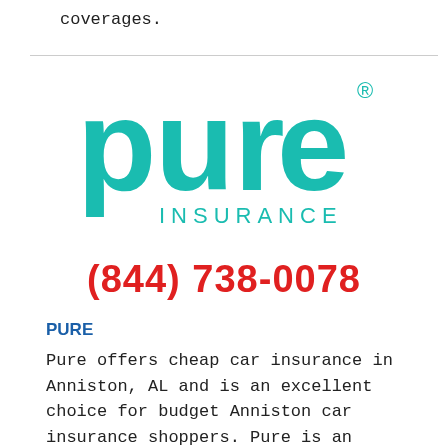coverages.
[Figure (logo): Pure Insurance logo — large teal/turquoise lowercase 'pure' lettering with registered trademark symbol, and 'INSURANCE' in smaller spaced caps below]
(844) 738-0078
PURE
Pure offers cheap car insurance in Anniston, AL and is an excellent choice for budget Anniston car insurance shoppers. Pure is an excellent choice for someone who is